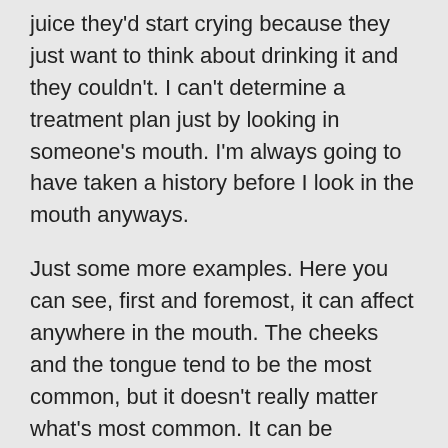juice they'd start crying because they just want to think about drinking it and they couldn't. I can't determine a treatment plan just by looking in someone's mouth. I'm always going to have taken a history before I look in the mouth anyways.
Just some more examples. Here you can see, first and foremost, it can affect anywhere in the mouth. The cheeks and the tongue tend to be the most common, but it doesn't really matter what's most common. It can be anywhere. Roof of the mouth is actually quite common as well, as are these little recurrent blisters that you can see here. We call them superficial mucoceles. This is actually caused by inflammation of minor salivary glands which are all throughout the mouth, but in particularly in the roof of the mouth.
Generally when they get stimulated and they're inflamed they cause these little spit bubbles to form.